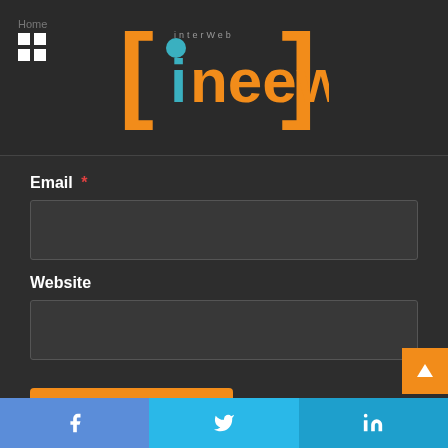ineews logo header
Email *
Website
Post Comment
English
Português
Facebook | Twitter | LinkedIn